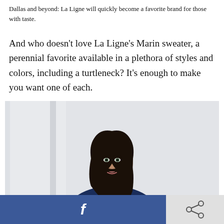Dallas and beyond: La Ligne will quickly become a favorite brand for those with taste.
And who doesn’t love La Ligne’s Marin sweater, a perennial favorite available in a plethora of styles and colors, including a turtleneck? It’s enough to make you want one of each.
[Figure (photo): Woman with dark hair wearing a navy turtleneck sweater, photographed against a light background]
[Figure (other): Facebook share button (blue with white f) and share icon button (light grey)]